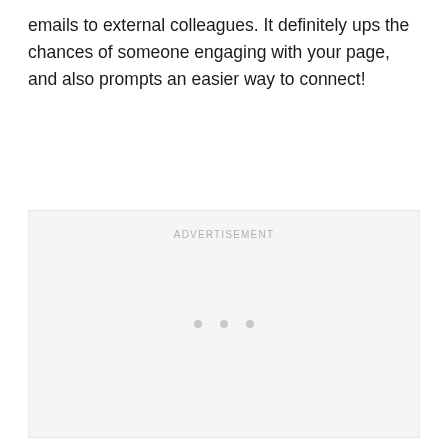emails to external colleagues. It definitely ups the chances of someone engaging with your page, and also prompts an easier way to connect!
[Figure (other): Advertisement placeholder box with 'ADVERTISEMENT' label at top and three loading dots in the center]